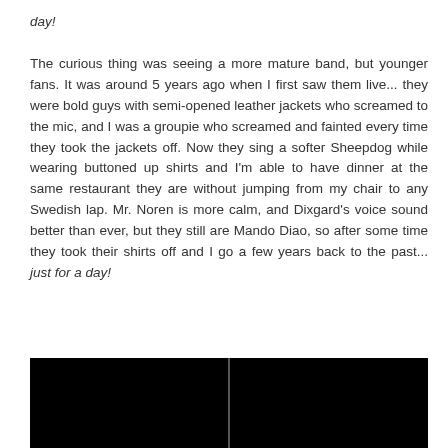day! The curious thing was seeing a more mature band, but younger fans. It was around 5 years ago when I first saw them live... they were bold guys with semi-opened leather jackets who screamed to the mic, and I was a groupie who screamed and fainted every time they took the jackets off. Now they sing a softer Sheepdog while wearing buttoned up shirts and I'm able to have dinner at the same restaurant they are without jumping from my chair to any Swedish lap. Mr. Noren is more calm, and Dixgard's voice sound better than ever, but they still are Mando Diao, so after some time they took their shirts off and I go a few years back to the past... just for a day!
[Figure (photo): Two dark/black rectangular photo panels side by side at the bottom of the page]